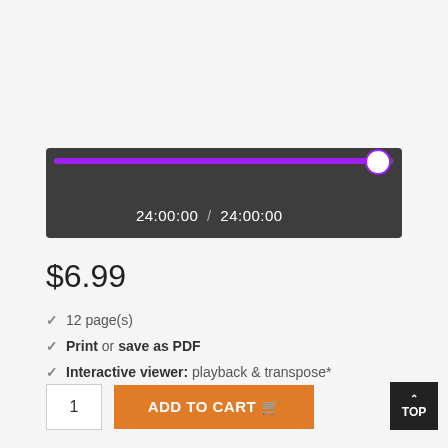[Figure (screenshot): Media player progress bar showing 24:00:00 / 24:00:00 with purple filled bar and white circular handle near end, on dark grey background]
$6.99
✓ 12 page(s)
✓ Print or save as PDF
✓ Interactive viewer: playback & transpose*
ADD TO CART